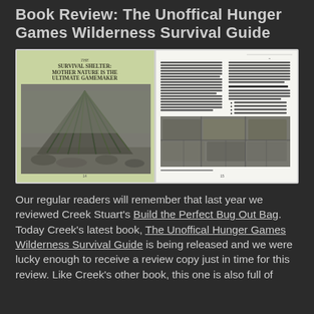Book Review: The Unoffical Hunger Games Wilderness Survival Guide
[Figure (photo): A two-page spread of the book 'The Unofficial Hunger Games Wilderness Survival Guide' showing the chapter on 'The Survival Shelter: Mother Nature is the Ultimate Gamemaker' with a black-and-white photo of a primitive debris shelter on the left page, and text with a photo of stone/rock shelter on the right page.]
Our regular readers will remember that last year we reviewed Creek Stuart's Build the Perfect Bug Out Bag. Today Creek's latest book, The Unoffical Hunger Games Wilderness Survival Guide is being released and we were lucky enough to receive a review copy just in time for this review. Like Creek's other book, this one is also full of